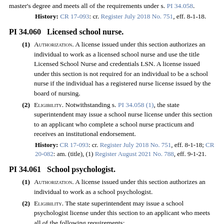master's degree and meets all of the requirements under s. PI 34.058.
History: CR 17-093: cr. Register July 2018 No. 751, eff. 8-1-18.
PI 34.060   Licensed school nurse.
(1) AUTHORIZATION. A license issued under this section authorizes an individual to work as a licensed school nurse and use the title Licensed School Nurse and credentials LSN. A license issued under this section is not required for an individual to be a school nurse if the individual has a registered nurse license issued by the board of nursing.
(2) ELIGIBILITY. Notwithstanding s. PI 34.058 (1), the state superintendent may issue a school nurse license under this section to an applicant who complete a school nurse practicum and receives an institutional endorsement.
History: CR 17-093: cr. Register July 2018 No. 751, eff. 8-1-18; CR 20-082: am. (title), (1) Register August 2021 No. 788, eff. 9-1-21.
PI 34.061   School psychologist.
(1) AUTHORIZATION. A license issued under this section authorizes an individual to work as a school psychologist.
(2) ELIGIBILITY. The state superintendent may issue a school psychologist license under this section to an applicant who meets all of the following requirements:
(a) The applicant meets all of the requirements under s. PI